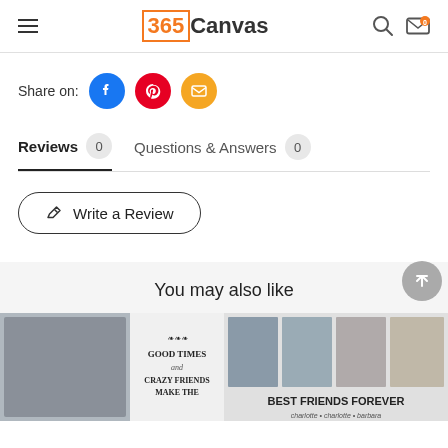365Canvas
Share on:
Reviews 0   Questions & Answers 0
Write a Review
You may also like
[Figure (photo): Product thumbnail 1: canvas print showing two smiling women with text 'GOOD TIMES and CRAZY FRIENDS MAKE THE']
[Figure (photo): Product thumbnail 2: canvas print showing a collage of four friend photos with text 'BEST FRIENDS FOREVER']